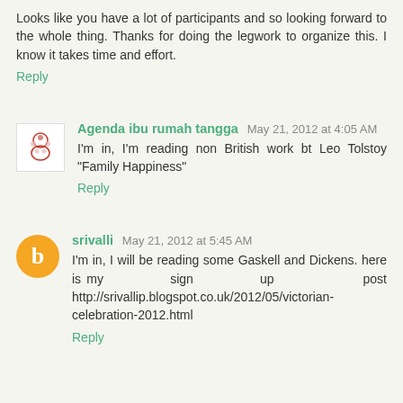Looks like you have a lot of participants and so looking forward to the whole thing. Thanks for doing the legwork to organize this. I know it takes time and effort.
Reply
Agenda ibu rumah tangga May 21, 2012 at 4:05 AM
I'm in, I'm reading non British work bt Leo Tolstoy "Family Happiness"
Reply
srivalli May 21, 2012 at 5:45 AM
I'm in, I will be reading some Gaskell and Dickens. here is my sign up post http://srivallip.blogspot.co.uk/2012/05/victorian-celebration-2012.html
Reply